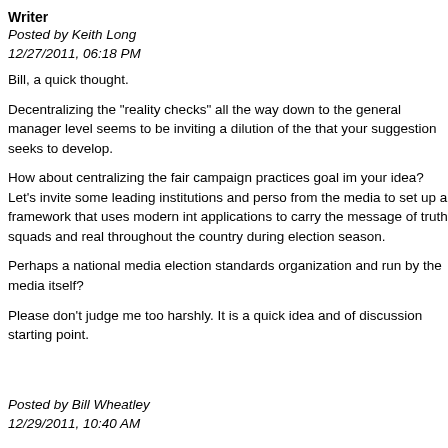Writer
Posted by Keith Long
12/27/2011, 06:18 PM
Bill, a quick thought.
Decentralizing the "reality checks" all the way down to the general manager level seems to be inviting a dilution of the that your suggestion seeks to develop.
How about centralizing the fair campaign practices goal im your idea? Let's invite some leading institutions and perso from the media to set up a framework that uses modern int applications to carry the message of truth squads and real throughout the country during election season.
Perhaps a national media election standards organization and run by the media itself?
Please don't judge me too harshly. It is a quick idea and of discussion starting point.
Posted by Bill Wheatley
12/29/2011, 10:40 AM